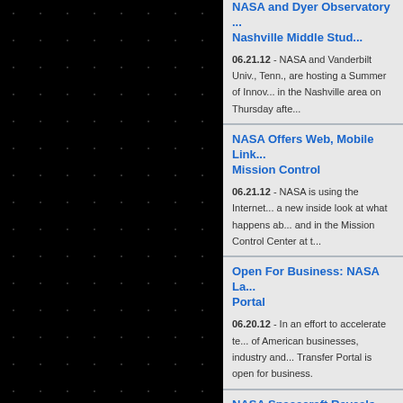[Figure (photo): Dark starfield background on left side panel]
NASA and Vanderbilt University, Nashville Middle Stud... 06.21.12 - NASA and Vanderbilt Univ., Tenn., are hosting a Summer of Innovation in the Nashville area on Thursday afte...
NASA Offers Web, Mobile Link Mission Control 06.21.12 - NASA is using the Internet to give a new inside look at what happens ab... and in the Mission Control Center at t...
Open For Business: NASA La... Portal 06.20.12 - In an effort to accelerate te... of American businesses, industry and... Transfer Portal is open for business.
NASA Spacecraft Reveals Ice 06.20.12 - NASA's Lunar Reconnaiss... data that indicate ice may make up as... in a crater located on the moon's sou...
NASA Set To Host Future Fe...